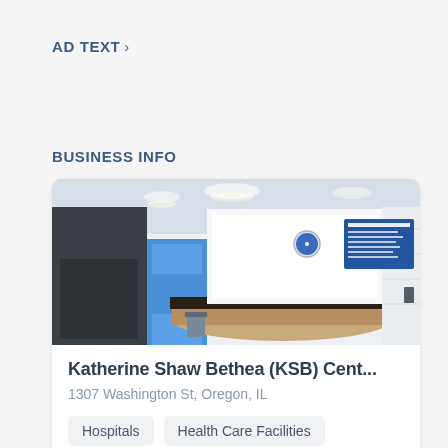AD TEXT  >
BUSINESS INFO
[Figure (photo): Interior of a hospital lobby/reception area with white tiled walls, a curved reception desk, blue tile accents, recessed lighting, and a directory sign on the wall.]
Katherine Shaw Bethea (KSB) Cent...
1307 Washington St, Oregon, IL
Hospitals
Health Care Facilities